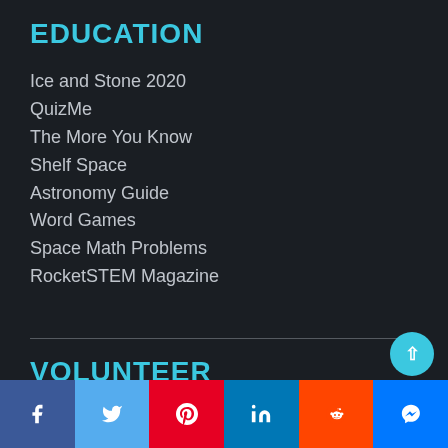EDUCATION
Ice and Stone 2020
QuizMe
The More You Know
Shelf Space
Astronomy Guide
Word Games
Space Math Problems
RocketSTEM Magazine
VOLUNTEER
[Figure (other): Social sharing bar with icons for Facebook, Twitter, Pinterest, LinkedIn, Reddit, and Messenger]